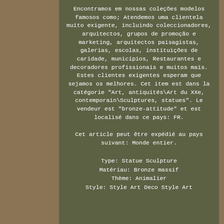Encontramos em nossas coleções modelos famosos como; Atendemos uma clientela muito exigente, incluindo coleccionadores, arquitectos, grupos de promoção e marketing, arquitectos paisagistas, galerias, escolas, instituições de caridade, municípios, Restaurantes e decoradores profissionais e muitos mais. Estes clientes exigentes esperam que sejamos os melhores. Cet item est dans la catégorie "Art, antiquités\Art du XXe, contemporain\Sculptures, statues". Le vendeur est "bronze-attitude" et est localisé dans ce pays: FR.
Cet article peut être expédié au pays suivant: Monde entier.
Type: Statue Sculpture
Matériau: Bronze massif
Thème: Animalier
Style: Style Art Deco Style Art